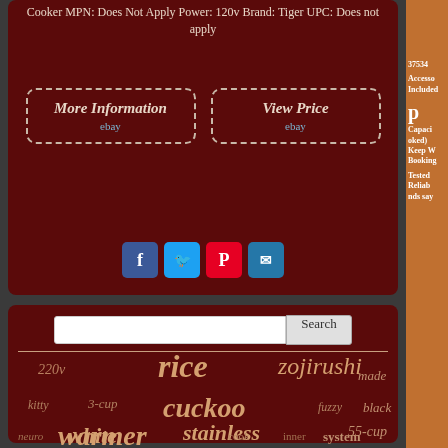Cooker MPN: Does Not Apply Power: 120v Brand: Tiger UPC: Does not apply
[Figure (other): More Information ebay button with dashed border]
[Figure (other): View Price ebay button with dashed border]
[Figure (other): Social sharing icons: Facebook, Twitter, Pinterest, Email]
[Figure (other): Search bar with Search button]
220v rice zojirushi made kitty 3-cup cuckoo fuzzy black neuro white stainless 55-cup warmer cook inner system